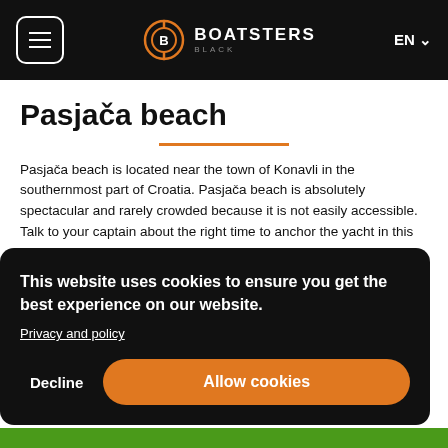BOATSTERS BLACK — EN
Pasjača beach
Pasjača beach is located near the town of Konavli in the southernmost part of Croatia. Pasjača beach is absolutely spectacular and rarely crowded because it is not easily accessible. Talk to your captain about the right time to anchor the yacht in this hidden bay in Dalmatia.
This website uses cookies to ensure you get the best experience on our website.
Privacy and policy
Decline
Allow cookies